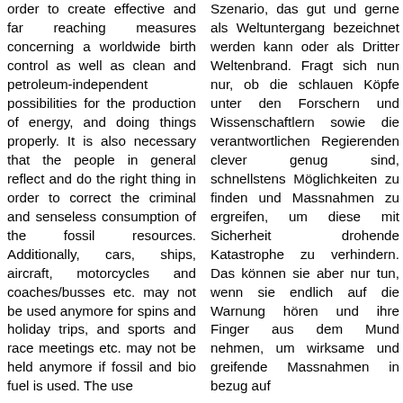order to create effective and far reaching measures concerning a worldwide birth control as well as clean and petroleum-independent possibilities for the production of energy, and doing things properly. It is also necessary that the people in general reflect and do the right thing in order to correct the criminal and senseless consumption of the fossil resources. Additionally, cars, ships, aircraft, motorcycles and coaches/busses etc. may not be used anymore for spins and holiday trips, and sports and race meetings etc. may not be held anymore if fossil and bio fuel is used. The use
Szenario, das gut und gerne als Weltuntergang bezeichnet werden kann oder als Dritter Weltenbrand. Fragt sich nun nur, ob die schlauen Köpfe unter den Forschern und Wissenschaftlern sowie die verantwortlichen Regierenden clever genug sind, schnellstens Möglichkeiten zu finden und Massnahmen zu ergreifen, um diese mit Sicherheit drohende Katastrophe zu verhindern. Das können sie aber nur tun, wenn sie endlich auf die Warnung hören und ihre Finger aus dem Mund nehmen, um wirksame und greifende Massnahmen in bezug auf